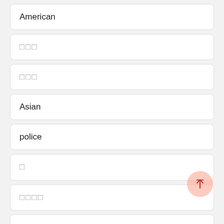American
□□□
□□□
Asian
police
□
□□□□
Newton